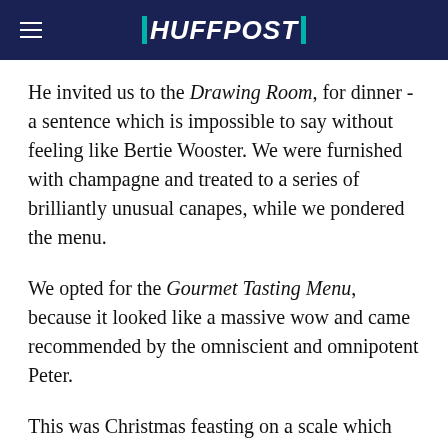HUFFPOST
He invited us to the Drawing Room, for dinner - a sentence which is impossible to say without feeling like Bertie Wooster. We were furnished with champagne and treated to a series of brilliantly unusual canapes, while we pondered the menu.
We opted for the Gourmet Tasting Menu, because it looked like a massive wow and came recommended by the omniscient and omnipotent Peter.
This was Christmas feasting on a scale which made Bacchus look like a xylophone-ribbed anaemic.
Over a period of four delicious hours, my husband